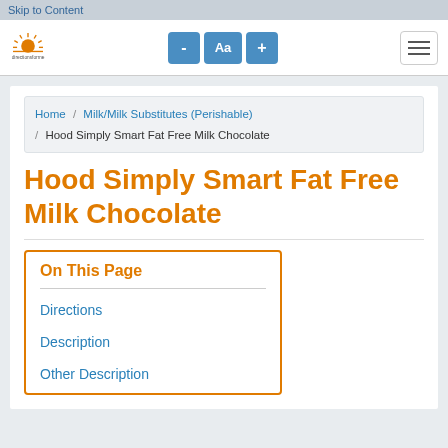Skip to Content
[Figure (logo): directionsforme sun logo with text 'directionsforme']
Directions for Me website navigation header with font size controls (-, Aa, +) and hamburger menu
Home / Milk/Milk Substitutes (Perishable) / Hood Simply Smart Fat Free Milk Chocolate
Hood Simply Smart Fat Free Milk Chocolate
On This Page
Directions
Description
Other Description